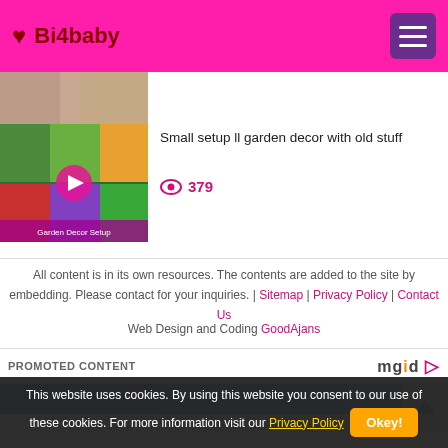♥ Bi4baby
[Figure (photo): Partially visible cropped image at top of content area]
[Figure (photo): Garden decor video thumbnail with play button and label 'Garden Decor Setup']
Small setup ll garden decor with old stuff
👁 379
All content is in its own resources. The contents are added to the site by embedding. Please contact for your inquiries. | Sitemap | Privacy Policy | Contact Us
Web Design and Coding GoodAjans
PROMOTED CONTENT
[Figure (photo): Blue promotional image at bottom of page]
This website uses cookies. By using this website you consent to our use of these cookies. For more information visit our Privacy Policy  Okey!